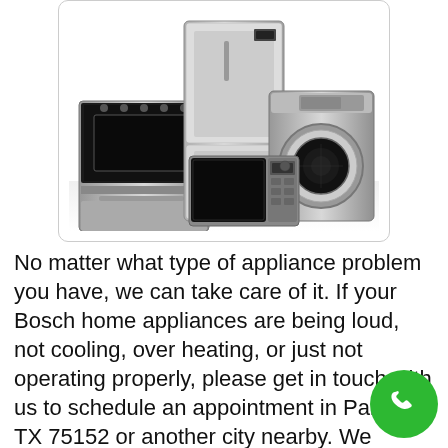[Figure (photo): Group of home appliances including a refrigerator, stove/range, washing machine, and microwave, displayed together on a white background inside a rounded rectangle border.]
No matter what type of appliance problem you have, we can take care of it. If your Bosch home appliances are being loud, not cooling, over heating, or just not operating properly, please get in touch with us to schedule an appointment in Palmer TX 75152 or another city nearby. We provide extensive diagnostic and troubleshooting, and our service technicians will find the cause of the problem, fix it, and ensure your appliances are running